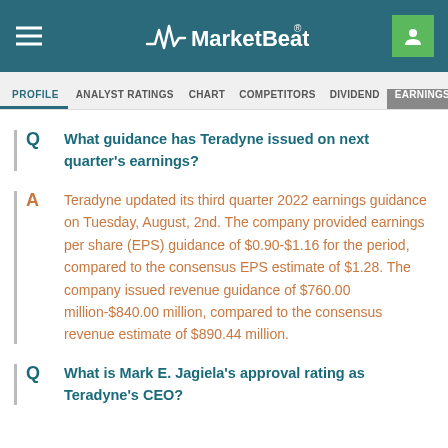MarketBeat
PROFILE  ANALYST RATINGS  CHART  COMPETITORS  DIVIDEND  EARNINGS
Q  What guidance has Teradyne issued on next quarter's earnings?
A  Teradyne updated its third quarter 2022 earnings guidance on Tuesday, August, 2nd. The company provided earnings per share (EPS) guidance of $0.90-$1.16 for the period, compared to the consensus EPS estimate of $1.28. The company issued revenue guidance of $760.00 million-$840.00 million, compared to the consensus revenue estimate of $890.44 million.
Q  What is Mark E. Jagiela's approval rating as Teradyne's CEO?